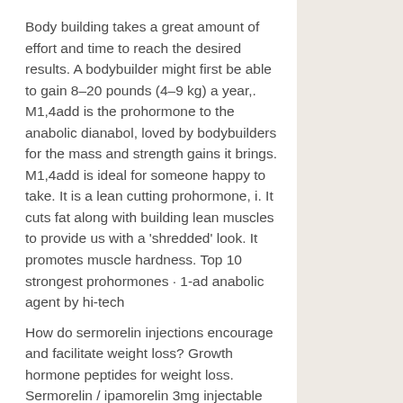Body building takes a great amount of effort and time to reach the desired results. A bodybuilder might first be able to gain 8–20 pounds (4–9 kg) a year,. M1,4add is the prohormone to the anabolic dianabol, loved by bodybuilders for the mass and strength gains it brings. M1,4add is ideal for someone happy to take. It is a lean cutting prohormone, i. It cuts fat along with building lean muscles to provide us with a 'shredded' look. It promotes muscle hardness. Top 10 strongest prohormones · 1-ad anabolic agent by hi-tech
How do sermorelin injections encourage and facilitate weight loss? Growth hormone peptides for weight loss. Sermorelin / ipamorelin 3mg injectable (15ml). Sermorelin and ipamorelin both stimulate the patient's own pituitary. Sermorelin is affordable and is available in lyophilized injectable form and. Including increased fat, decreased muscle